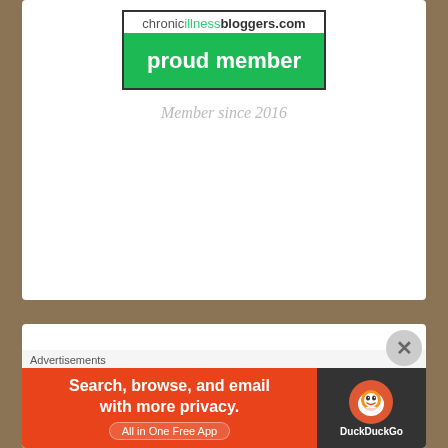[Figure (logo): chronicilnessbloggers.com proud member badge with green background]
Member since 2016
Stuff I Write About....
chronic illness (55)
Communication (3)
Coping (51)
Daily Grind (29)
Daily Post Weekly Photo Challenge (1)
Advertisements
[Figure (infographic): DuckDuckGo advertisement banner: Search, browse, and email with more privacy. All in One Free App]